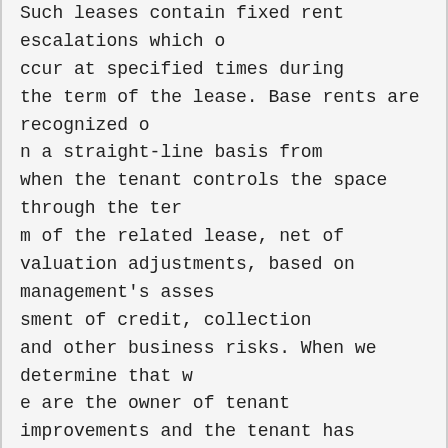Such leases contain fixed rent escalations which occur at specified times during the term of the lease. Base rents are recognized on a straight-line basis from when the tenant controls the space through the term of the related lease, net of valuation adjustments, based on management's assessment of credit, collection and other business risks. When we determine that we are the owner of tenant improvements and the tenant has reimbursed us for a portion or all of the tenant improvement costs, we consider the amount paid to be additional rent, which is recognized on a straight-line basis over the term of the related lease. For first generation tenants, in instances in which we fund tenant improvements and